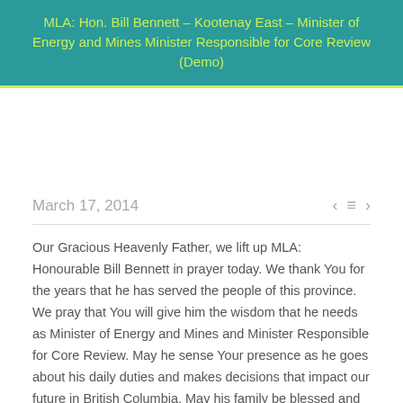MLA: Hon. Bill Bennett – Kootenay East – Minister of Energy and Mines Minister Responsible for Core Review (Demo)
March 17, 2014
Our Gracious Heavenly Father, we lift up MLA: Honourable Bill Bennett in prayer today. We thank You for the years that he has served the people of this province. We pray that You will give him the wisdom that he needs as Minister of Energy and Mines and Minister Responsible for Core Review. May he sense Your presence as he goes about his daily duties and makes decisions that impact our future in British Columbia. May his family be blessed and